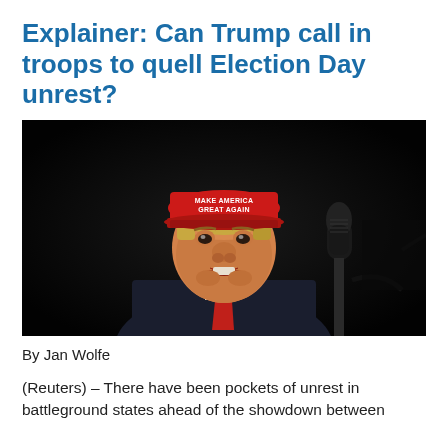Explainer: Can Trump call in troops to quell Election Day unrest?
[Figure (photo): Donald Trump speaking at a rally, wearing a red 'Make America Great Again' cap, against a dark background with a microphone visible to the right.]
By Jan Wolfe
(Reuters) – There have been pockets of unrest in battleground states ahead of the showdown between